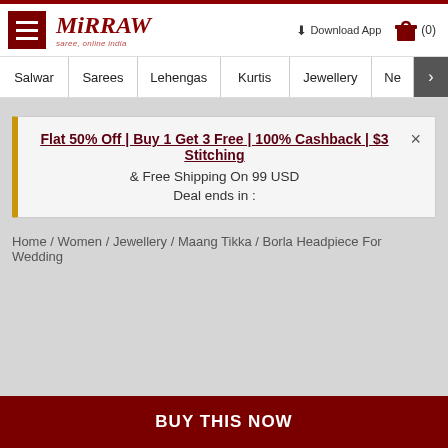Mirraw - saree, online india | Download App | (0)
Salwar | Sarees | Lehengas | Kurtis | Jewellery | Ne >
Flat 50% Off | Buy 1 Get 3 Free | 100% Cashback | $3 Stitching & Free Shipping On 99 USD
Deal ends in :
Home / Women / Jewellery / Maang Tikka / Borla Headpiece For Wedding
BUY THIS NOW